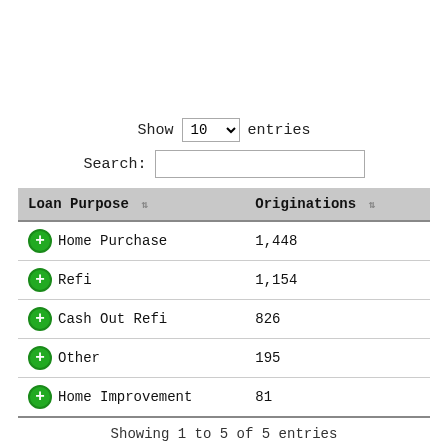Show 10 entries
Search:
| Loan Purpose | Originations |
| --- | --- |
| Home Purchase | 1,448 |
| Refi | 1,154 |
| Cash Out Refi | 826 |
| Other | 195 |
| Home Improvement | 81 |
Showing 1 to 5 of 5 entries